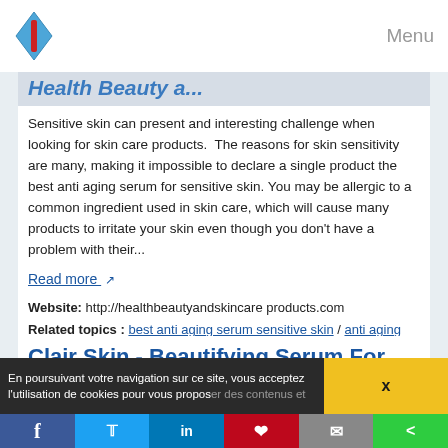Menu
Health Beauty a...
Sensitive skin can present and interesting challenge when looking for skin care products.  The reasons for skin sensitivity are many, making it impossible to declare a single product the best anti aging serum for sensitive skin. You may be allergic to a common ingredient used in skin care, which will cause many products to irritate your skin even though you don't have a problem with their...
Read more
Website: http://healthbeautyandskincare products.com
Related topics : best anti aging serum sensitive skin / anti aging skin care products for sensitive skin / anti aging face products for sensitive skin / best sensitive anti aging skin products / best natural anti aging products for sensitive skin
Clair Skin - Beautifying Serum For
En poursuivant votre navigation sur ce site, vous acceptez l'utilisation de cookies pour vous propos...